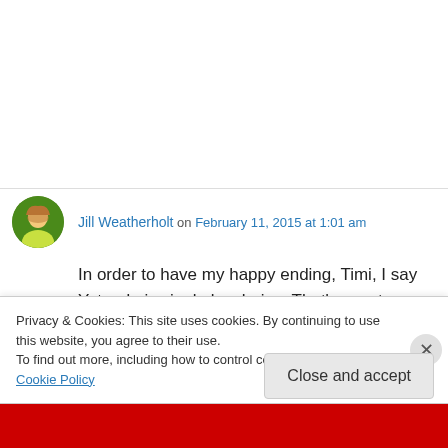Jill Weatherholt on February 11, 2015 at 1:01 am
In order to have my happy ending, Timi, I say Yetunde is single by choice. That's my story and I'm sticking to it. 🙂
Liked by 1 person
Privacy & Cookies: This site uses cookies. By continuing to use this website, you agree to their use. To find out more, including how to control cookies, see here: Cookie Policy
Close and accept